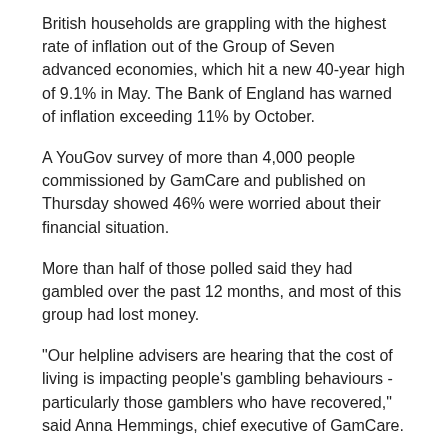British households are grappling with the highest rate of inflation out of the Group of Seven advanced economies, which hit a new 40-year high of 9.1% in May. The Bank of England has warned of inflation exceeding 11% by October.
A YouGov survey of more than 4,000 people commissioned by GamCare and published on Thursday showed 46% were worried about their financial situation.
More than half of those polled said they had gambled over the past 12 months, and most of this group had lost money.
"Our helpline advisers are hearing that the cost of living is impacting people's gambling behaviours - particularly those gamblers who have recovered," said Anna Hemmings, chief executive of GamCare.
"We also know that our team are hearing from more and more people who are reaching out for help around crypto trading."
Someone who paid in sterling to invest in Bitcoin BTCGBP=R six months ago to help hedge against the rising cost of living would have lost 55% of their investment as of Thursday.